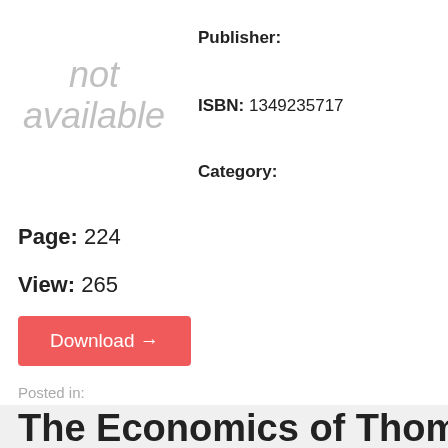[Figure (other): Placeholder image with italic gray text reading 'not available']
Publisher:
ISBN: 1349235717
Category:
Page: 224
View: 265
Download →
Posted in:
The Economics of Thomas Robert Malthus